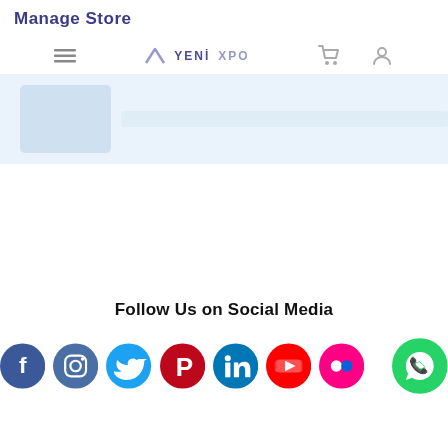Manage Store
[Figure (screenshot): Navigation bar with hamburger menu icon, trending arrow icon, YENI label, XPO label, cart icon, and user profile icon]
[Figure (screenshot): Blue banner/promotional area with faded image placeholder]
Follow Us on Social Media
[Figure (infographic): Row of social media circular icons: Facebook (dark blue), Instagram (dark blue-gray), Twitter (blue), Pinterest (red), LinkedIn (blue), YouTube (red), Flickr (pink/magenta), and a WhatsApp green circle icon on the right]